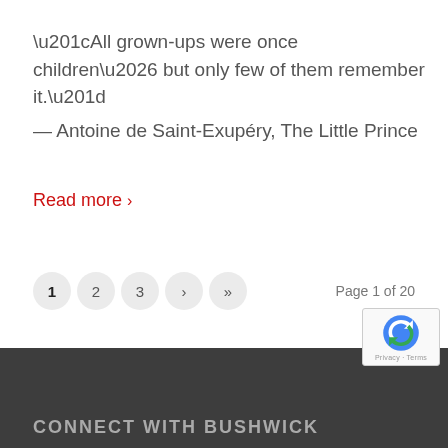“All grown-ups were once children… but only few of them remember it.”
— Antoine de Saint-Exupéry, The Little Prince
Read more ›
1  2  3  ›  »    Page 1 of 20
CONNECT WITH BUSHWICK